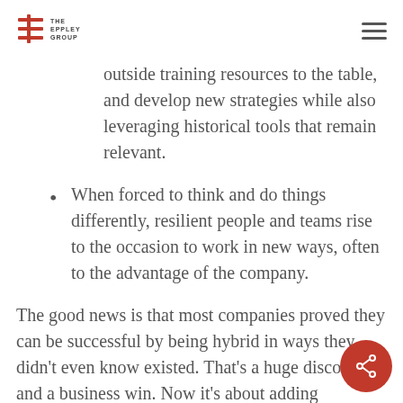The Eppley Group
outside training resources to the table, and develop new strategies while also leveraging historical tools that remain relevant.
When forced to think and do things differently, resilient people and teams rise to the occasion to work in new ways, often to the advantage of the company.
The good news is that most companies proved they can be successful by being hybrid in ways they didn't even know existed. That's a huge discovery and a business win. Now it's about adding